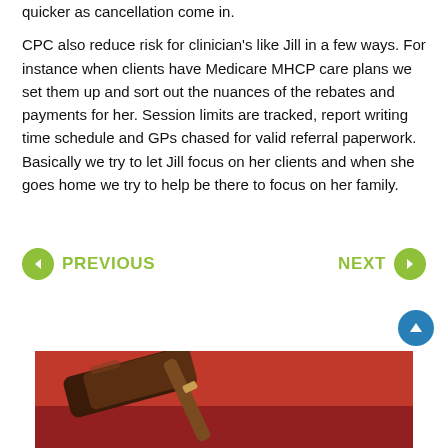quicker as cancellation come in.
CPC also reduce risk for clinician's like Jill in a few ways. For instance when clients have Medicare MHCP care plans we set them up and sort out the nuances of the rebates and payments for her. Session limits are tracked, report writing time schedule and GPs chased for valid referral paperwork. Basically we try to let Jill focus on her clients and when she goes home we try to help be there to focus on her family.
PREVIOUS
NEXT
[Figure (photo): Photo of a wooden gavel on a red surface, partially visible at the bottom of the page.]